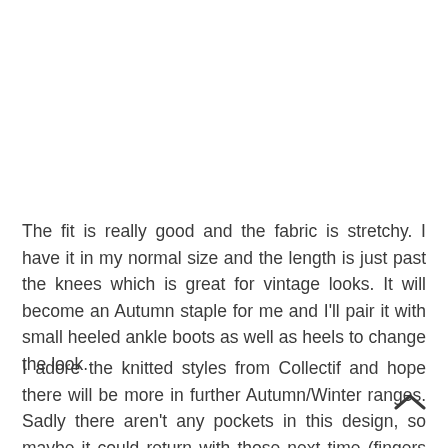The fit is really good and the fabric is stretchy. I have it in my normal size and the length is just past the knees which is great for vintage looks. It will become an Autumn staple for me and I'll pair it with small heeled ankle boots as well as heels to change the look.
I adore the knitted styles from Collectif and hope there will be more in further Autumn/Winter ranges. Sadly there aren't any pockets in this design, so maybe it could return with those next time (fingers crossed!). Currently the